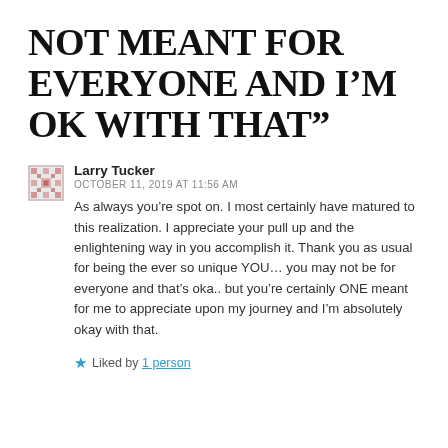NOT MEANT FOR EVERYONE AND I’M OK WITH THAT”
Larry Tucker
OCTOBER 11, 2019 AT 11:56 AM
As always you’re spot on. I most certainly have matured to this realization. I appreciate your pull up and the enlightening way in you accomplish it. Thank you as usual for being the ever so unique YOU… you may not be for everyone and that’s oka.. but you’re certainly ONE meant for me to appreciate upon my journey and I’m absolutely okay with that.
Liked by 1 person